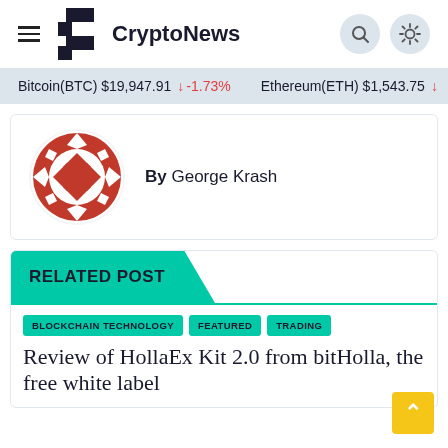CryptoNews
Bitcoin(BTC) $19,947.91 ↓ -1.73%   Ethereum(ETH) $1,543.75 ↓
[Figure (illustration): Red and white geometric diamond/pinwheel logo for George Krash author avatar]
By George Krash
RELATED POST
BLOCKCHAIN TECHNOLOGY  FEATURED  TRADING
Review of HollaEx Kit 2.0 from bitHolla, the free white label